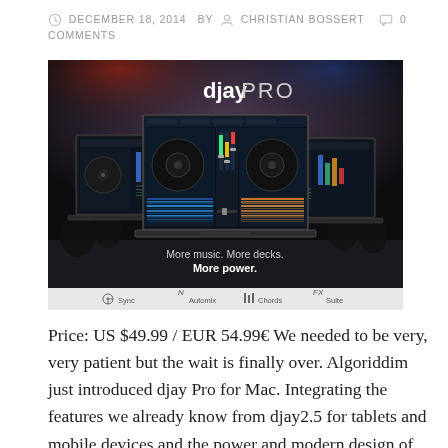DECEMBER 18, 2014  BY  CHRISTIAN BOSSERT  0 COMMENTS
[Figure (screenshot): djay PRO application screenshot for Mac showing multiple DJ decks on laptop screens with text 'More music. More decks. More power.' and navigation tabs: Sync, Automix, Chords, FX Suite]
Price: US $49.99 / EUR 54.99€ We needed to be very, very patient but the wait is finally over. Algoriddim just introduced djay Pro for Mac. Integrating the features we already know from djay2.5 for tablets and mobile devices and the power and modern design of Apple's hardware.  [Read more...]